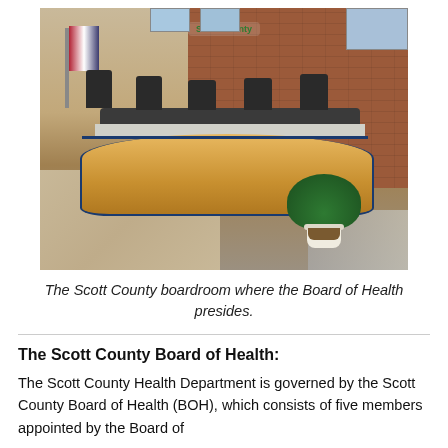[Figure (photo): Interior photo of the Scott County boardroom showing a curved wooden dais/desk with several black office chairs behind it, a brick wall in the background with the Scott County logo in green, an American flag on the left, and a green plant in a white pot on the right side of the desk.]
The Scott County boardroom where the Board of Health presides.
The Scott County Board of Health:
The Scott County Health Department is governed by the Scott County Board of Health (BOH), which consists of five members appointed by the Board of